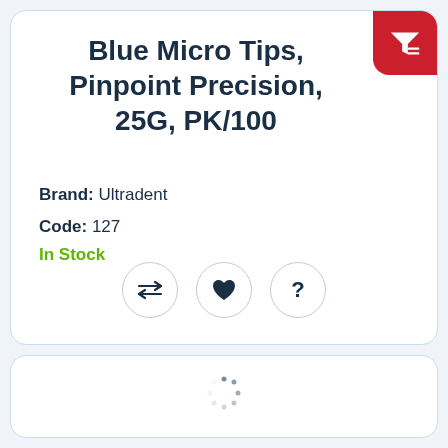Blue Micro Tips, Pinpoint Precision, 25G, PK/100
Brand: Ultradent
Code: 127
In Stock
[Figure (infographic): Row of three circular icon buttons: compare arrows icon, heart/favorite icon, question mark icon]
[Figure (infographic): Loading spinner dots centered in the bottom card area]